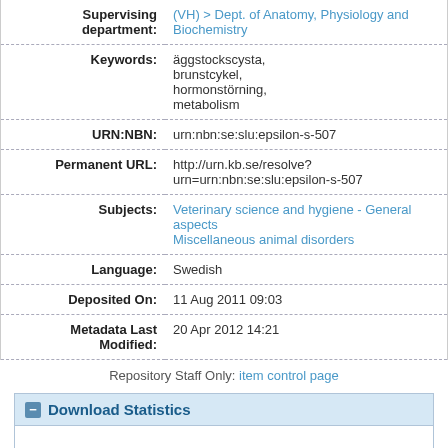| Field | Value |
| --- | --- |
| Supervising department: | (VH) > Dept. of Anatomy, Physiology and Biochemistry |
| Keywords: | äggstockscysta, brunstcykel, hormonstörning, metabolism |
| URN:NBN: | urn:nbn:se:slu:epsilon-s-507 |
| Permanent URL: | http://urn.kb.se/resolve?urn=urn:nbn:se:slu:epsilon-s-507 |
| Subjects: | Veterinary science and hygiene - General aspects
Miscellaneous animal disorders |
| Language: | Swedish |
| Deposited On: | 11 Aug 2011 09:03 |
| Metadata Last Modified: | 20 Apr 2012 14:21 |
Repository Staff Only: item control page
Download Statistics